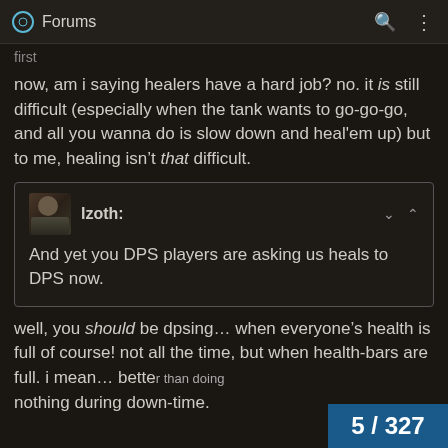Forums
first
now, am i saying healers have a hard job? no. it is still difficult (especially when the tank wants to go-go-go, and all you wanna do is slow down and heal'em up) but to me, healing isn't that difficult.
Izoth:
And yet you DPS players are asking us heals to DPS now.
well, you should be dpsing... when everyone's health is full of course! not all the time, but when health-bars are full. i mean... better than doing nothing during down-time.
5 / 327